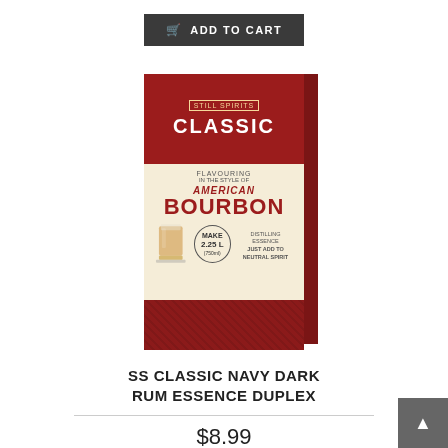[Figure (photo): Add to Cart button (dark gray, shopping cart icon, uppercase text) at top center of page]
[Figure (photo): Still Spirits Classic American Bourbon Flavouring product box — red top with CLASSIC text, cream middle with AMERICAN BOURBON text and glass image, red diamond-pattern bottom, with dark side panel]
SS CLASSIC NAVY DARK RUM ESSENCE DUPLEX
$8.99
[Figure (photo): Add to Cart button (dark gray, shopping cart icon, uppercase text) at bottom center of page]